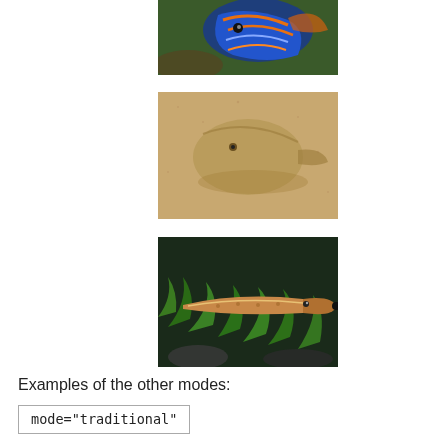[Figure (photo): Closeup photo of a colorful mandarin fish with blue and orange patterns, partially cropped at top]
[Figure (photo): Photo of a flatfish camouflaged in sand, viewed from above]
[Figure (photo): Photo of a small elongated fish resting on green aquatic plants against a dark background]
Examples of the other modes:
mode="traditional"